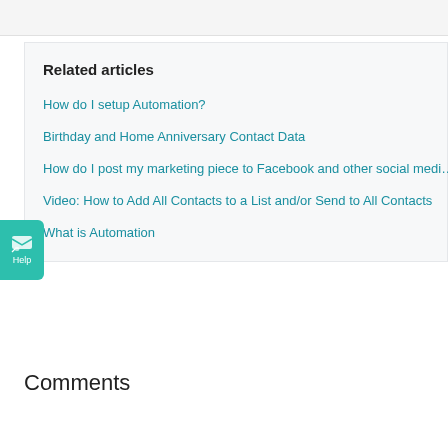Related articles
How do I setup Automation?
Birthday and Home Anniversary Contact Data
How do I post my marketing piece to Facebook and other social medi…
Video: How to Add All Contacts to a List and/or Send to All Contacts
What is Automation
Comments